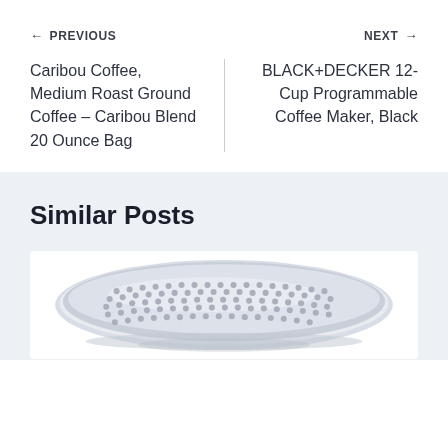← PREVIOUS
NEXT →
Caribou Coffee, Medium Roast Ground Coffee – Caribou Blend 20 Ounce Bag
BLACK+DECKER 12-Cup Programmable Coffee Maker, Black
Similar Posts
[Figure (photo): Close-up photo of a silver/stainless steel cheese grater or similar kitchen utensil with a grid of small holes, viewed from above at an angle, against a white background.]